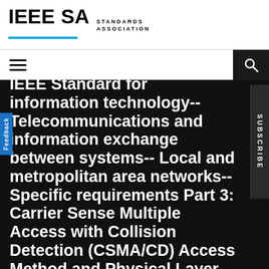IEEE SA STANDARDS ASSOCIATION
IEEE Standard for Information technology-- Telecommunications and information exchange between systems-- Local and metropolitan area networks-- Specific requirements Part 3: Carrier Sense Multiple Access with Collision Detection (CSMA/CD) Access Method and Physical Layer Specifications